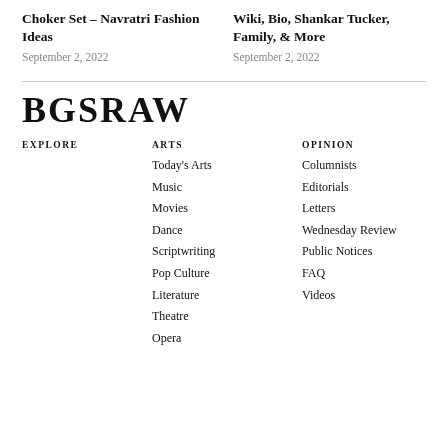Choker Set – Navratri Fashion Ideas
September 2, 2022
Wiki, Bio, Shankar Tucker, Family, & More
September 2, 2022
BGSRAW
EXPLORE
ARTS
Today's Arts
Music
Movies
Dance
Scriptwriting
Pop Culture
Literature
Theatre
Opera
OPINION
Columnists
Editorials
Letters
Wednesday Review
Public Notices
FAQ
Videos